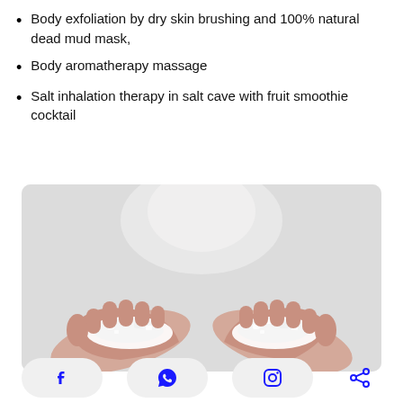Body exfoliation by dry skin brushing and 100% natural dead mud mask,
Body aromatherapy massage
Salt inhalation therapy in salt cave with fruit smoothie cocktail
[Figure (photo): Two hands cupped together holding white salt crystals against a light background]
Facebook, WhatsApp, Instagram, Share social media icons